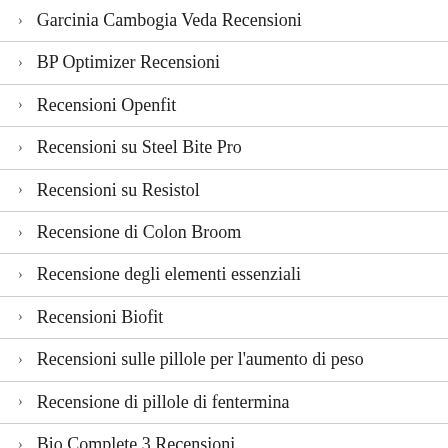Garcinia Cambogia Veda Recensioni
BP Optimizer Recensioni
Recensioni Openfit
Recensioni su Steel Bite Pro
Recensioni su Resistol
Recensione di Colon Broom
Recensione degli elementi essenziali
Recensioni Biofit
Recensioni sulle pillole per l'aumento di peso
Recensione di pillole di fentermina
Bio Complete 3 Recensioni
Glucofort Recensioni
Recensioni su Nutrafol